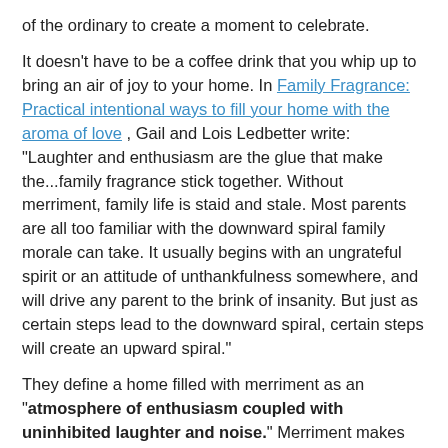of the ordinary to create a moment to celebrate.
It doesn't have to be a coffee drink that you whip up to bring an air of joy to your home. In Family Fragrance: Practical intentional ways to fill your home with the aroma of love , Gail and Lois Ledbetter write: "Laughter and enthusiasm are the glue that make the...family fragrance stick together. Without merriment, family life is staid and stale. Most parents are all too familiar with the downward spiral family morale can take. It usually begins with an ungrateful spirit or an attitude of unthankfulness somewhere, and will drive any parent to the brink of insanity. But just as certain steps lead to the downward spiral, certain steps will create an upward spiral."
They define a home filled with merriment as an "atmosphere of enthusiasm coupled with uninhibited laughter and noise." Merriment makes the house fun! It is the opposite of an environment marked with boredom; morale is generally high; the house is lively, and there is animated laughter. Moments with merriment help us get through the hard times.